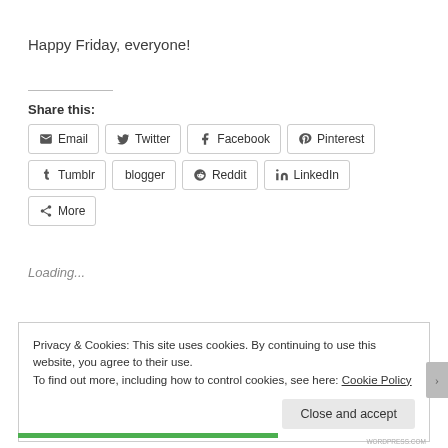Happy Friday, everyone!
Share this:
Email  Twitter  Facebook  Pinterest  Tumblr  blogger  Reddit  LinkedIn  More
Loading...
Privacy & Cookies: This site uses cookies. By continuing to use this website, you agree to their use.
To find out more, including how to control cookies, see here: Cookie Policy
Close and accept